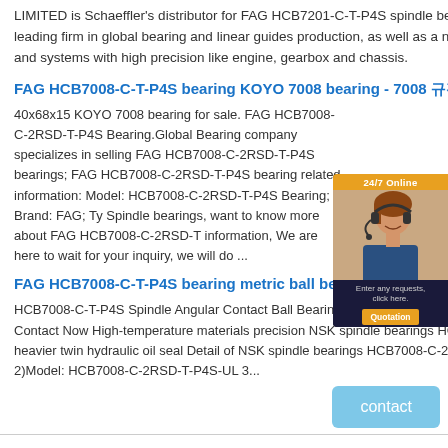LIMITED is Schaeffler's distributor for FAG HCB7201-C-T-P4S spindle bearings. Schaeffler is a leading firm in global bearing and linear guides production, as well as a noted supplier for products and systems with high precision like engine, gearbox and chassis.
FAG HCB7008-C-T-P4S bearing KOYO 7008 bearing - 7008 규격 데이터시트
40x68x15 KOYO 7008 bearing for sale. FAG HCB7008-C-2RSD-T-P4S Bearing.Global Bearing company specializes in selling FAG HCB7008-C-2RSD-T-P4S bearings; FAG HCB7008-C-2RSD-T-P4S bearing related information: Model: HCB7008-C-2RSD-T-P4S Bearing; Brand: FAG; Ty Spindle bearings, want to know more about FAG HCB7008-C-2RSD-T information, We are here to wait for your inquiry, we will do ...
[Figure (other): 24/7 Online customer service widget with a photo of a customer support representative wearing a headset, with an orange Quotation button and text 'Enter any requests, click here.']
FAG HCB7008-C-T-P4S bearing metric ball bearings – Quality Supplier from
HCB7008-C-T-P4S Spindle Angular Contact Ball Bearings HCB7008.C.T.P4S NSK 40 x 68 x 15 mm Contact Now High-temperature materials precision NSK spindle bearings HCB7008-C-2RSD-T-P4S heavier twin hydraulic oil seal Detail of NSK spindle bearings HCB7008-C-2RSD-T-P4S 1)Brand: NSK 2)Model: HCB7008-C-2RSD-T-P4S-UL 3...
contact